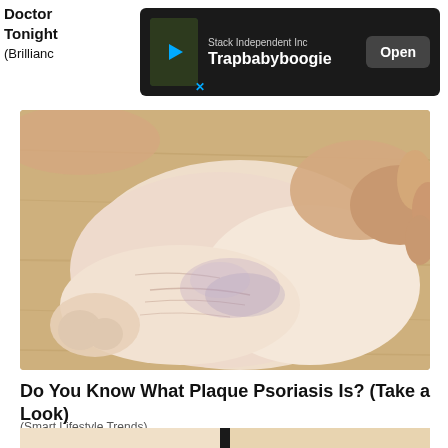Doctor ... y (Try Tonight ... (Brillianc...
[Figure (screenshot): Advertisement banner overlay: Stack Independent Inc — Trapbabyboogie — Open button, dark background]
[Figure (photo): Close-up photo of a human foot/ankle showing dry, wrinkled, pale skin consistent with plaque psoriasis, held up by hands against a light wood floor background]
Do You Know What Plaque Psoriasis Is? (Take a Look)
(Smart Lifestyle Trends)
[Figure (photo): Partial view of another image at the bottom of the page, cut off]